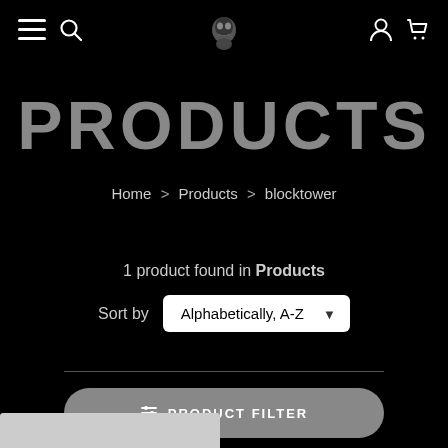Navigation bar with menu, search, logo, account, and cart icons
PRODUCTS
Home > Products > blocktower
1 product found in Products
Sort by  Alphabetically, A-Z
PRODUCT FILTER